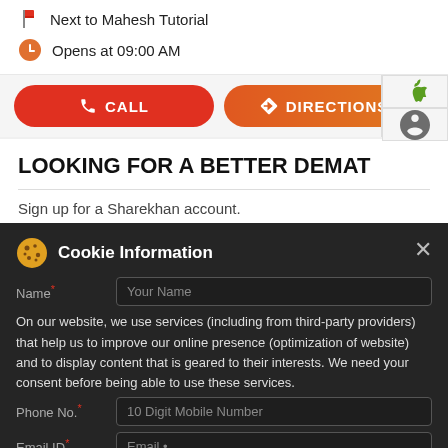Next to Mahesh Tutorial
Opens at 09:00 AM
CALL
DIRECTIONS
LOOKING FOR A BETTER DEMAT
Sign up for a Sharekhan account.
Cookie Information
On our website, we use services (including from third-party providers) that help us to improve our online presence (optimization of website) and to display content that is geared to their interests. We need your consent before being able to use these services.
Book Uber to Sharekhan
T&C Apply